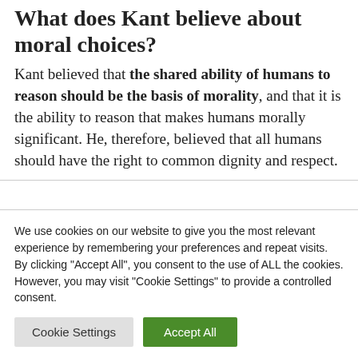What does Kant believe about moral choices?
Kant believed that the shared ability of humans to reason should be the basis of morality, and that it is the ability to reason that makes humans morally significant. He, therefore, believed that all humans should have the right to common dignity and respect.
We use cookies on our website to give you the most relevant experience by remembering your preferences and repeat visits. By clicking "Accept All", you consent to the use of ALL the cookies. However, you may visit "Cookie Settings" to provide a controlled consent.